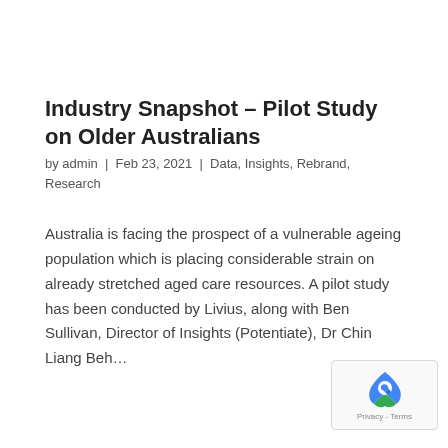Industry Snapshot – Pilot Study on Older Australians
by admin  |  Feb 23, 2021  |  Data, Insights, Rebrand, Research
Australia is facing the prospect of a vulnerable ageing population which is placing considerable strain on already stretched aged care resources. A pilot study has been conducted by Livius, along with Ben Sullivan, Director of Insights (Potentiate), Dr Chin Liang Beh...